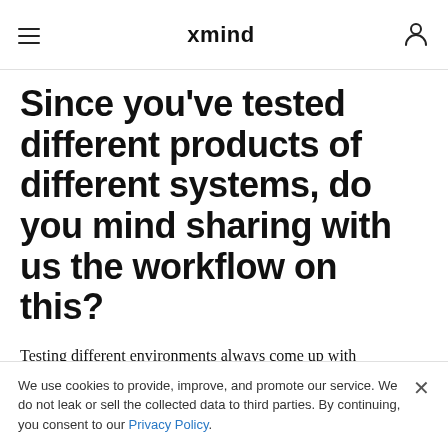xmind
Since you've tested different products of different systems, do you mind sharing with us the workflow on this?
Testing different environments always come up with challenges, no two applications or products are the same.
We use cookies to provide, improve, and promote our service. We do not leak or sell the collected data to third parties. By continuing, you consent to our Privacy Policy.